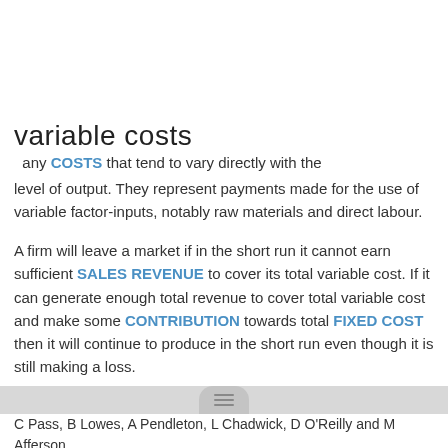variable costs
any COSTS that tend to vary directly with the level of output. They represent payments made for the use of variable factor-inputs, notably raw materials and direct labour.
A firm will leave a market if in the short run it cannot earn sufficient SALES REVENUE to cover its total variable cost. If it can generate enough total revenue to cover total variable cost and make some CONTRIBUTION towards total FIXED COST then it will continue to produce in the short run even though it is still making a loss.
"CITE" [link icon] Collins Dictionary of Business, 3rd ed. © 2002, 2005 C Pass, B Lowes, A Pendleton, L Chadwick, D O'Reilly and M Afferson